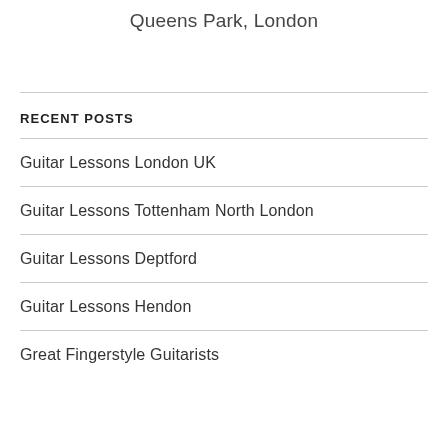Queens Park, London
RECENT POSTS
Guitar Lessons London UK
Guitar Lessons Tottenham North London
Guitar Lessons Deptford
Guitar Lessons Hendon
Great Fingerstyle Guitarists